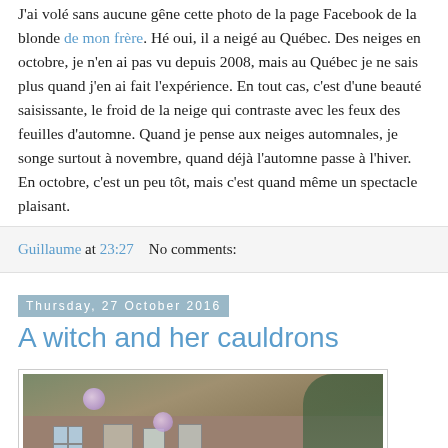J'ai volé sans aucune gêne cette photo de la page Facebook de la blonde de mon frère. Hé oui, il a neigé au Québec. Des neiges en octobre, je n'en ai pas vu depuis 2008, mais au Québec je ne sais plus quand j'en ai fait l'expérience. En tout cas, c'est d'une beauté saisissante, le froid de la neige qui contraste avec les feux des feuilles d'automne. Quand je pense aux neiges automnales, je songe surtout à novembre, quand déjà l'automne passe à l'hiver. En octobre, c'est un peu tôt, mais c'est quand même un spectacle plaisant.
Guillaume at 23:27   No comments:
Thursday, 27 October 2016
A witch and her cauldrons
[Figure (photo): Outdoor photo showing a building facade with Halloween decorations, a witch figure, cauldrons, and two pink/purple glowing orbs in the garden area.]